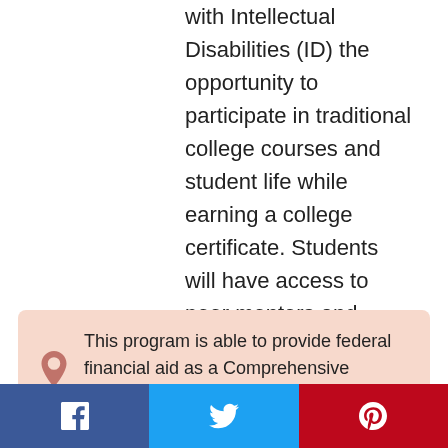with Intellectual Disabilities (ID) the opportunity to participate in traditional college courses and student life while earning a college certificate. Students will have access to peer mentors and classroom accommodations, empowering them to complete course work to the best of their abilities. The program is intended to encourage independent living skills and self-advocacy and provide... Read more
This program is able to provide federal financial aid as a Comprehensive Transition Program (CTP)